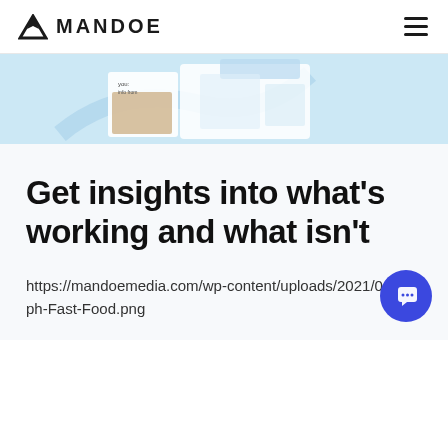MANDOE
[Figure (screenshot): Partial screenshot of a digital signage interface showing a food image and blue gradient UI elements]
Get insights into what's working and what isn't
https://mandoemedia.com/wp-content/uploads/2021/06/Graph-Fast-Food.png